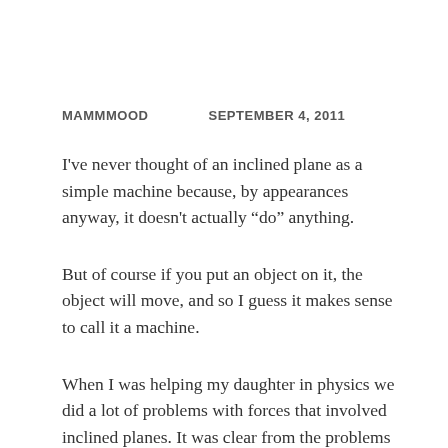MAMMMOOD   SEPTEMBER 4, 2011
I've never thought of an inclined plane as a simple machine because, by appearances anyway, it doesn't actually “do” anything.
But of course if you put an object on it, the object will move, and so I guess it makes sense to call it a machine.
When I was helping my daughter in physics we did a lot of problems with forces that involved inclined planes. It was clear from the problems